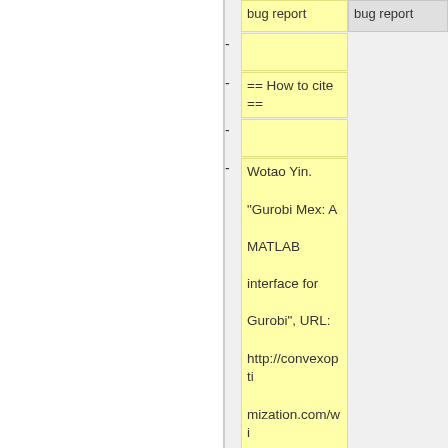|  | bug report | bug report |
| - |  |  |
| - | == How to cite == |  |
| - |  |  |
| - | Wotao Yin. "Gurobi Mex: A MATLAB interface for Gurobi", URL: http://convexoptimization.com/wikimization/index.php/gurobi_mex, 2009-2011. |  |
|  | == Download, Installation, and Limitations == | == Download, Installation, and Limitations == |